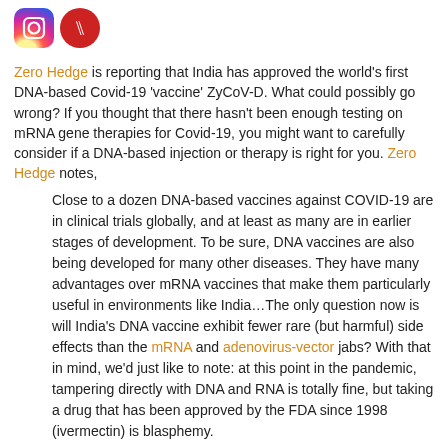[Figure (logo): Instagram logo icon (gradient pink/orange/purple) and a red circular icon with a white fork/trident symbol]
Zero Hedge is reporting that India has approved the world's first DNA-based Covid-19 'vaccine' ZyCoV-D. What could possibly go wrong? If you thought that there hasn't been enough testing on mRNA gene therapies for Covid-19, you might want to carefully consider if a DNA-based injection or therapy is right for you. Zero Hedge notes,
Close to a dozen DNA-based vaccines against COVID-19 are in clinical trials globally, and at least as many are in earlier stages of development. To be sure, DNA vaccines are also being developed for many other diseases. They have many advantages over mRNA vaccines that make them particularly useful in environments like India...The only question now is will India's DNA vaccine exhibit fewer rare (but harmful) side effects than the mRNA and adenovirus-vector jabs? With that in mind, we'd just like to note: at this point in the pandemic, tampering directly with DNA and RNA is totally fine, but taking a drug that has been approved by the FDA since 1998 (ivermectin) is blasphemy.